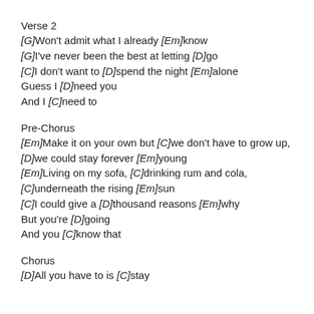Verse 2
[G]Won't admit what I already [Em]know
[G]I've never been the best at letting [D]go
[C]I don't want to [D]spend the night [Em]alone
Guess I [D]need you
And I [C]need to
Pre-Chorus
[Em]Make it on your own but [C]we don't have to grow up, [D]we could stay forever [Em]young
[Em]Living on my sofa, [C]drinking rum and cola, [C]underneath the rising [Em]sun
[C]I could give a [D]thousand reasons [Em]why
But you're [D]going
And you [C]know that
Chorus
[D]All you have to is [C]stay